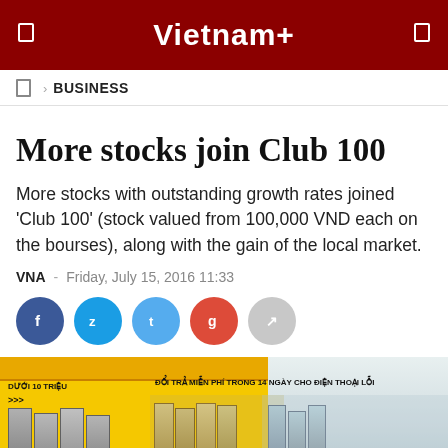Vietnam+
BUSINESS
More stocks join Club 100
More stocks with outstanding growth rates joined 'Club 100' (stock valued from 100,000 VND each on the bourses), along with the gain of the local market.
VNA  -  Friday, July 15, 2016 11:33
[Figure (screenshot): Social share buttons: Facebook, Zalo, Twitter, Google+, and a share icon]
[Figure (photo): Interior of a Vietnamese electronics/smartphone retail store with yellow signage reading 'ĐỔI TRẢ MIỄN PHÍ TRONG 14 NGÀY CHO ĐIỆN THOẠI LỖI' and 'DƯỚI 10 TRIỆU', shelves with phones and accessories]